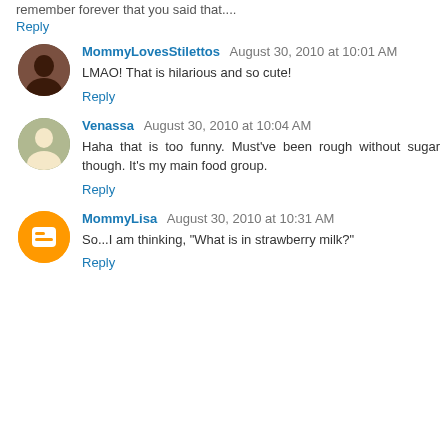remember forever that you said that....
Reply
MommyLovesStilettos  August 30, 2010 at 10:01 AM
LMAO! That is hilarious and so cute!
Reply
Venassa  August 30, 2010 at 10:04 AM
Haha that is too funny. Must've been rough without sugar though. It's my main food group.
Reply
MommyLisa  August 30, 2010 at 10:31 AM
So...I am thinking, "What is in strawberry milk?"
Reply